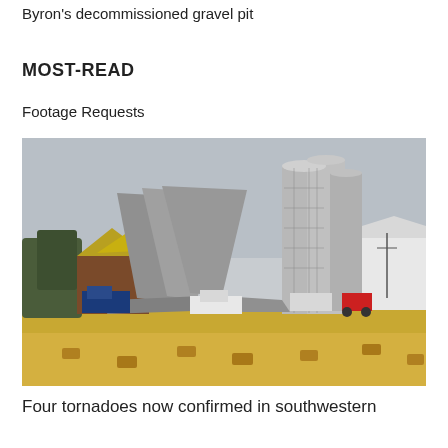Byron's decommissioned gravel pit
MOST-READ
Footage Requests
[Figure (photo): Photograph of tornado-damaged farm with collapsed grain silos and barn, hay bales in foreground field]
Four tornadoes now confirmed in southwestern